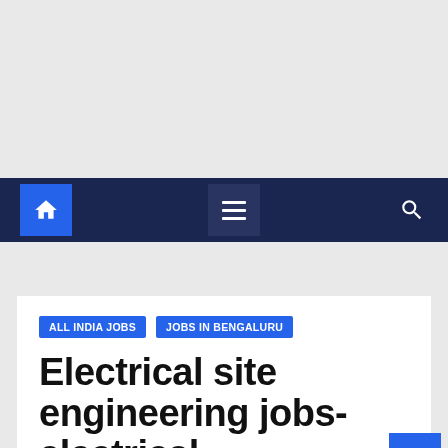[Figure (screenshot): Top gray advertisement/placeholder area]
Navigation bar with home icon, hamburger menu, and search icon
ALL INDIA JOBS
JOBS IN BENGALURU
Electrical site engineering jobs- electrical